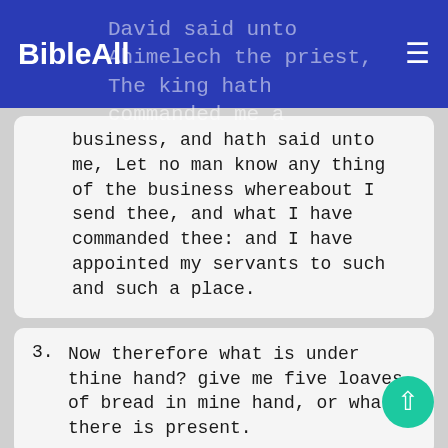BibleAll — David said unto Ahimelech the priest, The king hath commanded me a
business, and hath said unto me, Let no man know any thing of the business whereabout I send thee, and what I have commanded thee: and I have appointed my servants to such and such a place.
3. Now therefore what is under thine hand? give me five loaves of bread in mine hand, or what there is present.
4. And the priest answered David, and said, There is no common bread under mine hand, but there is hallowed bread; if the